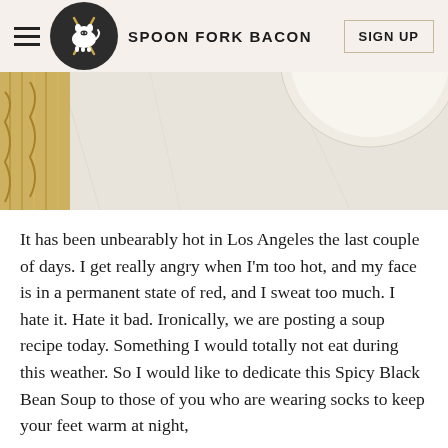SPOON FORK BACON | SIGN UP
[Figure (photo): Partial photo of a bowl and noodles/pasta on a light marble surface, cropped at top]
It has been unbearably hot in Los Angeles the last couple of days. I get really angry when I'm too hot, and my face is in a permanent state of red, and I sweat too much. I hate it. Hate it bad. Ironically, we are posting a soup recipe today. Something I would totally not eat during this weather. So I would like to dedicate this Spicy Black Bean Soup to those of you who are wearing socks to keep your feet warm at night, covering your cold necks in huge scarfs, and wearing big jackets with your hands stuffed